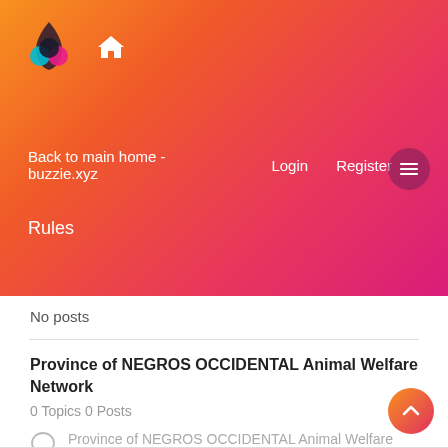[Figure (logo): Buzzie.xyz logo with colorful overlapping circles and home icon]
Back to main home - buzzie.xyz   Login   Register
Rules
No posts
Province of NEGROS OCCIDENTAL Animal Welfare Network
0 Topics 0 Posts
Province of NEGROS OCCIDENTAL Animal Welfare Network

This forum is for sharing all animals needing any kind of help in the province of Negros Occidental, Philippines
No posts